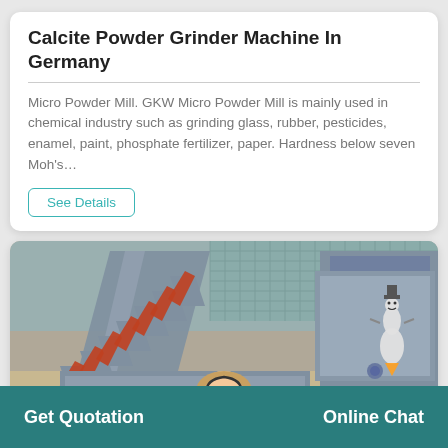Calcite Powder Grinder Machine In Germany
Micro Powder Mill. GKW Micro Powder Mill is mainly used in chemical industry such as grinding glass, rubber, pesticides, enamel, paint, phosphate fertilizer, paper. Hardness below seven Moh's…
See Details
[Figure (photo): Industrial machinery — a row of large grey metal bucket elevator or conveyor buckets with orange/red interior surfaces, arranged diagonally outdoors. A small rocket/snowman cartoon overlay visible on the right side.]
Get Quotation   Online Chat